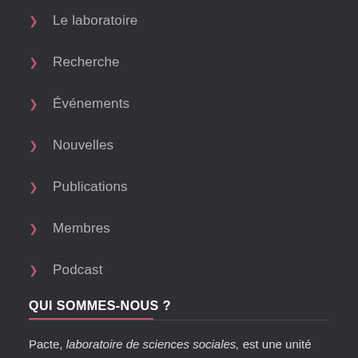Le laboratoire
Recherche
Événements
Nouvelles
Publications
Membres
Podcast
QUI SOMMES-NOUS ?
Pacte, laboratoire de sciences sociales, est une unité mixte de recherche du CNRS, de l'Université Grenoble Alpes et de Sciences Po Grenoble implantée principalement sur le site